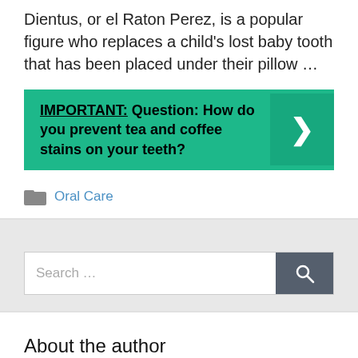Dientus, or el Raton Perez, is a popular figure who replaces a child's lost baby tooth that has been placed under their pillow ...
[Figure (infographic): Green callout box with bold text: IMPORTANT: Question: How do you prevent tea and coffee stains on your teeth? With a right-arrow chevron on the right side on a slightly darker green background.]
Oral Care
[Figure (infographic): Search bar with placeholder text 'Search ...' and a dark gray search button with a magnifying glass icon.]
About the author